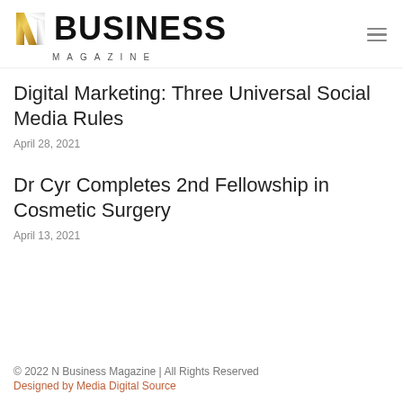N Business Magazine
Digital Marketing: Three Universal Social Media Rules
April 28, 2021
Dr Cyr Completes 2nd Fellowship in Cosmetic Surgery
April 13, 2021
© 2022 N Business Magazine | All Rights Reserved
Designed by Media Digital Source